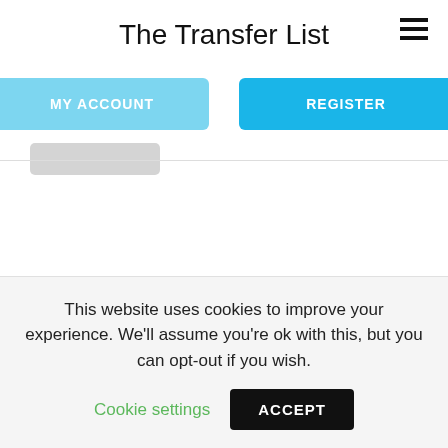The Transfer List
[Figure (other): Hamburger menu icon (three horizontal lines) in top right corner]
MY ACCOUNT
REGISTER
This website uses cookies to improve your experience. We'll assume you're ok with this, but you can opt-out if you wish.
Cookie settings
ACCEPT